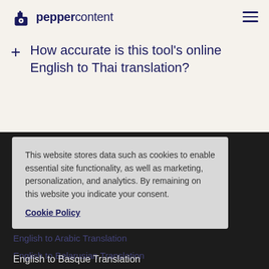peppercontent
+ How accurate is this tool's online English to Thai translation?
This website stores data such as cookies to enable essential site functionality, as well as marketing, personalization, and analytics. By remaining on this website you indicate your consent.
Cookie Policy
English to Amharic Translation
English to Afrikaans Translation
Croatian Translation
English to Catalan Translation
English to Armenian Translation
English to Arabic Translation
English to Belarusian Translation
English to Azerbaijani Translation
English to Basque Translation